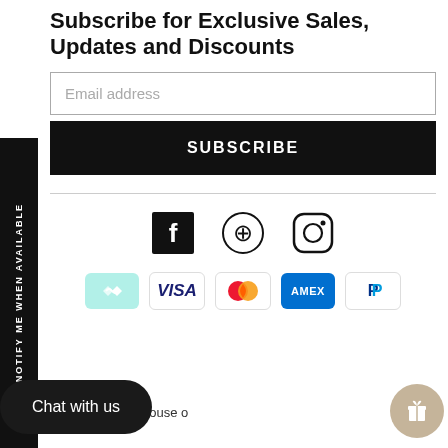Subscribe for Exclusive Sales, Updates and Discounts
Email address
SUBSCRIBE
NOTIFY ME WHEN AVAILABLE
[Figure (infographic): Social media icons: Facebook, Pinterest, Instagram]
[Figure (infographic): Payment icons: Afterpay, Visa, Mastercard, Amex, PayPal]
e Designed & Built by House o
Chat with us